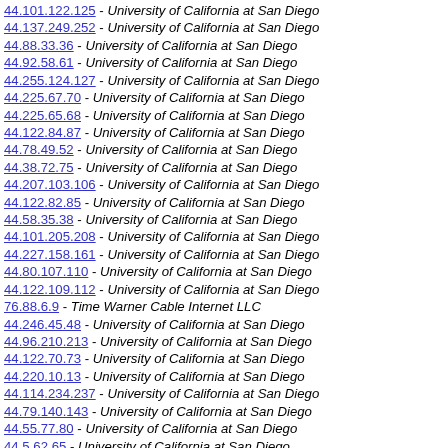44.101.122.125 - University of California at San Diego
44.137.249.252 - University of California at San Diego
44.88.33.36 - University of California at San Diego
44.92.58.61 - University of California at San Diego
44.255.124.127 - University of California at San Diego
44.225.67.70 - University of California at San Diego
44.225.65.68 - University of California at San Diego
44.122.84.87 - University of California at San Diego
44.78.49.52 - University of California at San Diego
44.38.72.75 - University of California at San Diego
44.207.103.106 - University of California at San Diego
44.122.82.85 - University of California at San Diego
44.58.35.38 - University of California at San Diego
44.101.205.208 - University of California at San Diego
44.227.158.161 - University of California at San Diego
44.80.107.110 - University of California at San Diego
44.122.109.112 - University of California at San Diego
76.88.6.9 - Time Warner Cable Internet LLC
44.246.45.48 - University of California at San Diego
44.96.210.213 - University of California at San Diego
44.122.70.73 - University of California at San Diego
44.220.10.13 - University of California at San Diego
44.114.234.237 - University of California at San Diego
44.79.140.143 - University of California at San Diego
44.55.77.80 - University of California at San Diego
44.5.62.65 - University of California at San Diego
66.181.16.19 - Spacelink Systems
44.229.170.173 - University of California at San Diego
44.76.85.88 - University of California at San Diego
44.114.243.246 - University of California at San Diego